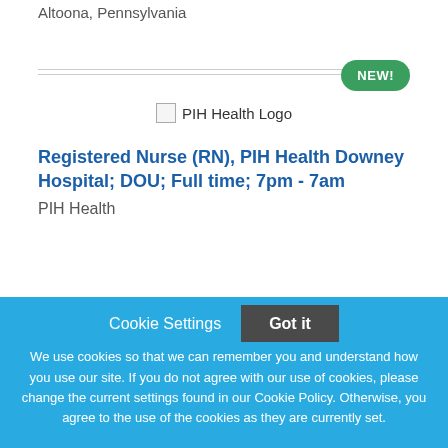Altoona, Pennsylvania
[Figure (logo): PIH Health Logo placeholder image]
Registered Nurse (RN), PIH Health Downey Hospital; DOU; Full time; 7pm - 7am
PIH Health
Cookie Settings  Got it
We use cookies so that we can remember you and understand how you use our site. If you do not agree with our use of cookies, please change the current settings found in our Cookie Policy. Otherwise, you agree to the use of the cookies as they are currently set.